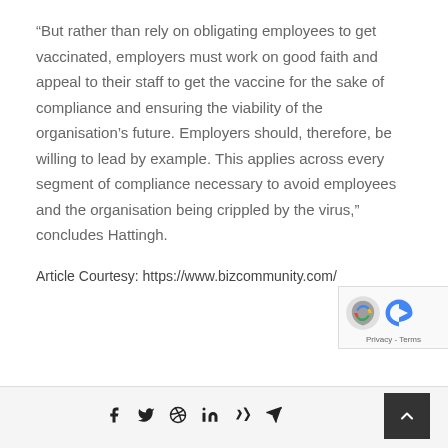“But rather than rely on obligating employees to get vaccinated, employers must work on good faith and appeal to their staff to get the vaccine for the sake of compliance and ensuring the viability of the organisation’s future. Employers should, therefore, be willing to lead by example. This applies across every segment of compliance necessary to avoid employees and the organisation being crippled by the virus,” concludes Hattingh.
Article Courtesy: https://www.bizcommunity.com/
[Figure (other): reCAPTCHA badge with Privacy and Terms links]
Social share icons: Facebook, Twitter, Pinterest, LinkedIn, Xing, Telegram. Scroll-to-top button.